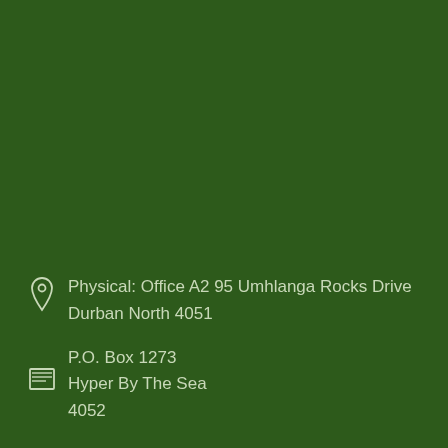Physical: Office A2 95 Umhlanga Rocks Drive Durban North 4051
P.O. Box 1273 Hyper By The Sea 4052